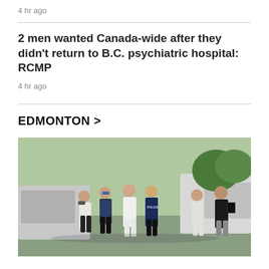4 hr ago
2 men wanted Canada-wide after they didn't return to B.C. psychiatric hospital: RCMP
4 hr ago
EDMONTON >
[Figure (photo): Group of law enforcement officers and people in white coveralls gathered outdoors near vehicles, apparently at a crime scene investigation.]